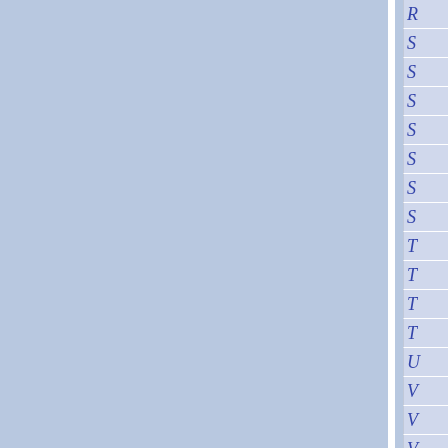[Figure (other): Document index or table of contents page showing two large blue-grey columns on the left separated by a white vertical divider, and a narrow right column containing a vertical list of italic blue letter labels (R, S, S, S, S, S, S, S, T, T, T, T, U, V, V, V) separated by white horizontal lines serving as an alphabetical index tab.]